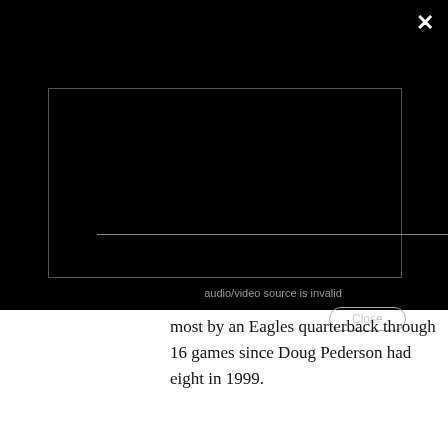[Figure (screenshot): Black modal overlay showing a video player error dialog with 'audio/video source is invalid' message and a 'Close' button. An X close button is in the top right corner.]
most by an Eagles quarterback through 16 games since Doug Pederson had eight in 1999.
[Figure (screenshot): Teal colored bar at the bottom showing three video thumbnails: football players on left, an Eagles Eye Podcast thumbnail in center with a play button and 'DON'T FORGET ABOUT WHITE' text, and a partial thumbnail on the right. A chevron down arrow appears top right.]